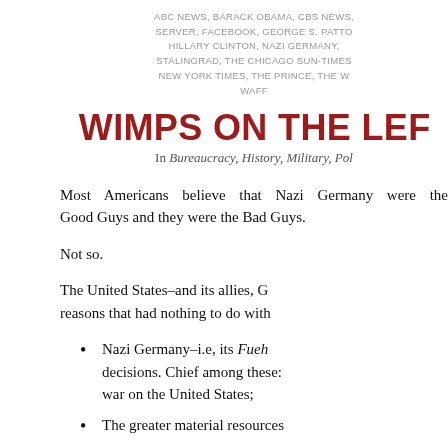ABC NEWS, BARACK OBAMA, CBS NEWS, SERVER, FACEBOOK, GEORGE S. PATTON, HILLARY CLINTON, NAZI GERMANY, STALINGRAD, THE CHICAGO SUN-TIMES, NEW YORK TIMES, THE PRINCE, THE W WAFF
WIMPS ON THE LEFT
In Bureaucracy, History, Military, Politics
Most Americans believe that Nazi Germany were the Good Guys and they were the Bad Guys.
Not so.
The United States–and its allies, G reasons that had nothing to do with
Nazi Germany–i.e, its Fuehrer's decisions. Chief among these: war on the United States;
The greater material resources
The Allies waged war as brutally